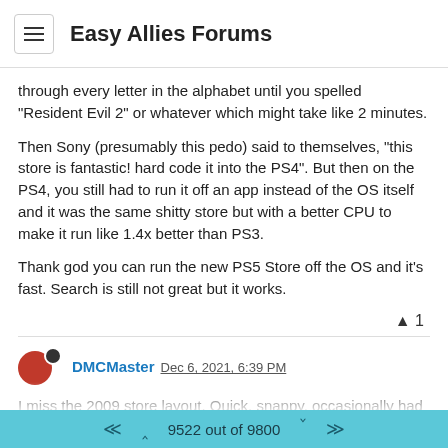Easy Allies Forums
through every letter in the alphabet until you spelled "Resident Evil 2" or whatever which might take like 2 minutes.
Then Sony (presumably this pedo) said to themselves, "this store is fantastic! hard code it into the PS4". But then on the PS4, you still had to run it off an app instead of the OS itself and it was the same shitty store but with a better CPU to make it run like 1.4x better than PS3.
Thank god you can run the new PS5 Store off the OS and it's fast. Search is still not great but it works.
▲ 1
DMCMaster Dec 6, 2021, 6:39 PM
I miss the 2009 store layout. Quick, snappy, occasionally had a bit of music or a graphical effect like snow during the winter (even if it did make me think my pre HDTV was dying on occasion) It was honestly great except there was no way to view purchases / downloads with
9522 out of 9800